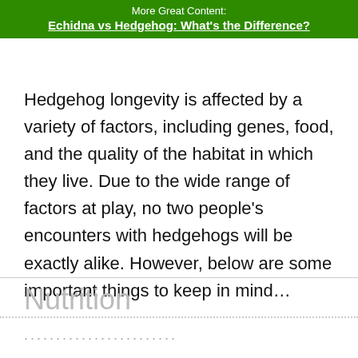More Great Content:
Echidna vs Hedgehog: What's the Difference?
Hedgehog longevity is affected by a variety of factors, including genes, food, and the quality of the habitat in which they live. Due to the wide range of factors at play, no two people's encounters with hedgehogs will be exactly alike. However, below are some important things to keep in mind…
Nutrition